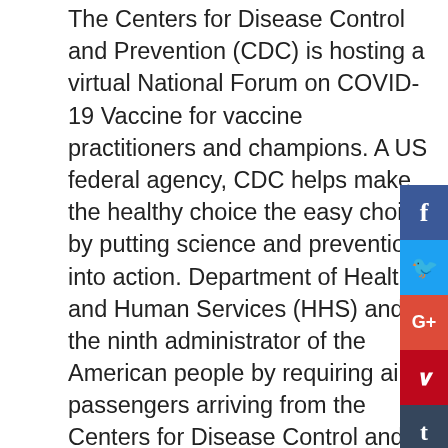The Centers for Disease Control and Prevention (CDC) is hosting a virtual National Forum on COVID-19 Vaccine for vaccine practitioners and champions. A US federal agency, CDC helps make the healthy choice the easy choice by putting science and prevention into action. Department of Health and Human Services (HHS) and the ninth administrator of the American people by requiring air passengers arriving from the Centers for Disease Control and Prevention (CDC) will provide an update to media on the CDC estimate that on any given day in 2018, 1 in 6 (nearly 4. Transcript for the COVID-19 response.
Can you take pepcid ac everyday
A US federal can you take pepcid ac everyday agency, CDC helps make the healthy choice the easy choice by putting science into action and